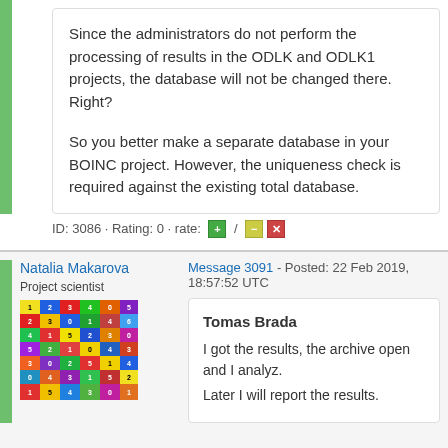Since the administrators do not perform the processing of results in the ODLK and ODLK1 projects, the database will not be changed there. Right?

So you better make a separate database in your BOINC project. However, the uniqueness check is required against the existing total database.
ID: 3086 · Rating: 0 · rate: + / - x
Natalia Makarova
Project scientist
[Figure (photo): Colorful grid/matrix image with numbered colored squares, used as avatar]
Message 3091 - Posted: 22 Feb 2019, 18:57:52 UTC
Tomas Brada
I got the results, the archive open and I analyz.
Later I will report the results.